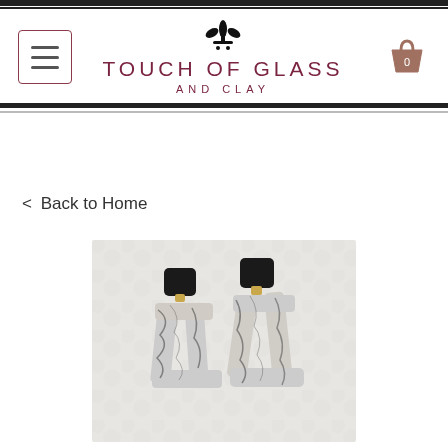Touch of Glass and Clay — navigation header with logo
< Back to Home
[Figure (photo): Two clay statement earrings with black square tops and open trapezoidal/rectangular frames with a marbled black and white pattern, shown on a white textured background.]